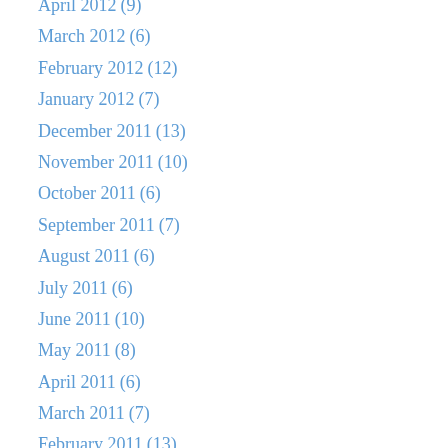April 2012 (9)
March 2012 (6)
February 2012 (12)
January 2012 (7)
December 2011 (13)
November 2011 (10)
October 2011 (6)
September 2011 (7)
August 2011 (6)
July 2011 (6)
June 2011 (10)
May 2011 (8)
April 2011 (6)
March 2011 (7)
February 2011 (13)
January 2011 (12)
December 2010 (15)
November 2010 (15)
October 2010 (16)
September 2010 (9)